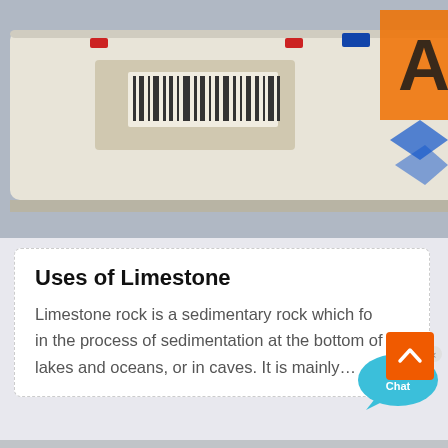[Figure (photo): Photo of industrial white equipment box/container with a barcode label, with an orange and blue logo visible in the background (appears to say 'AM')]
Uses of Limestone
Limestone rock is a sedimentary rock which fo... in the process of sedimentation at the bottom of lakes and oceans, or in caves. It is mainly…
[Figure (photo): Close-up photo of a white perforated metal panel or industrial screen/sieve with many small holes and dark specks, with industrial equipment visible in background]
[Figure (other): Live Chat speech bubble icon - teal/blue color with text 'Live Chat' and an X close button]